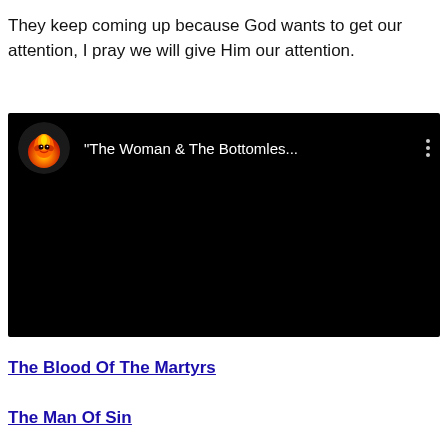They keep coming up because God wants to get our attention, I pray we will give Him our attention.
[Figure (screenshot): YouTube video thumbnail with black background showing channel icon (fiery bird/phoenix logo) and video title '"The Woman & The Bottomles...' in white text with three-dot menu icon]
The Blood Of The Martyrs
The Man Of Sin